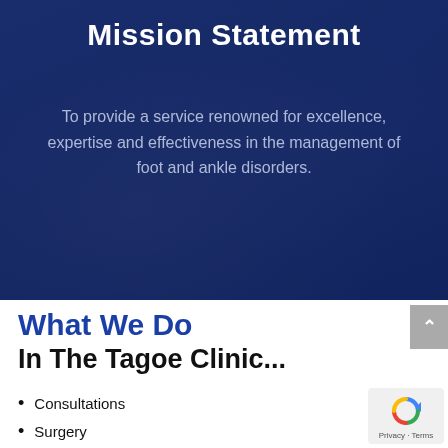Mission Statement
To provide a service renowned for excellence, expertise and effectiveness in the management of foot and ankle disorders.
What We Do
In The Tagoe Clinic...
Consultations
Surgery
Outpatient procedures